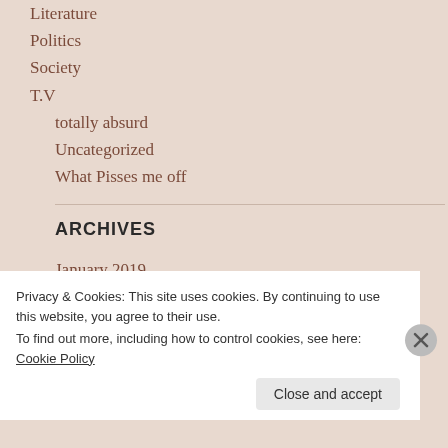Literature
Politics
Society
T.V
totally absurd
Uncategorized
What Pisses me off
ARCHIVES
January 2019
November 2018
October 2018
May 2018
Privacy & Cookies: This site uses cookies. By continuing to use this website, you agree to their use.
To find out more, including how to control cookies, see here: Cookie Policy
Close and accept